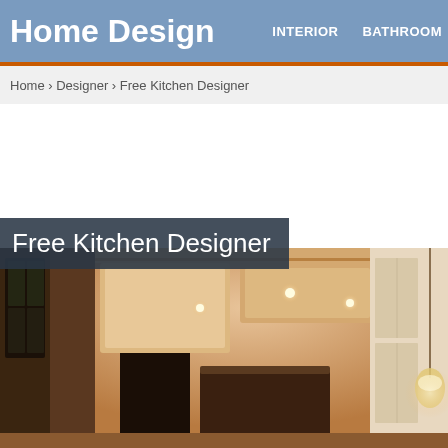Home Design   INTERIOR   BATHROOM
Home › Designer › Free Kitchen Designer
Free Kitchen Designer
[Figure (photo): Interior photo of a luxury kitchen with coffered ceiling, recessed lighting, arched doorways, dark wood island, glass-front cabinets, and warm ambient lighting.]